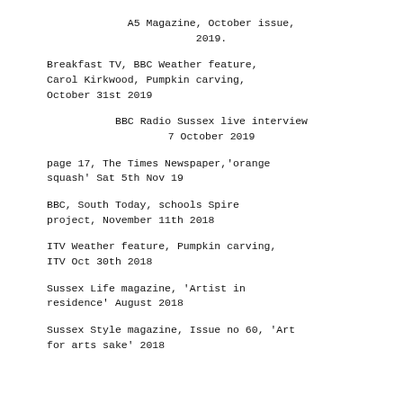A5 Magazine, October issue, 2019.
Breakfast TV, BBC Weather feature, Carol Kirkwood, Pumpkin carving, October 31st 2019
BBC Radio Sussex live interview 7 October 2019
page 17, The Times Newspaper,'orange squash' Sat 5th Nov 19
BBC, South Today, schools Spire project, November 11th 2018
ITV Weather feature, Pumpkin carving, ITV Oct 30th 2018
Sussex Life magazine, 'Artist in residence' August 2018
Sussex Style magazine, Issue no 60, 'Art for arts sake' 2018